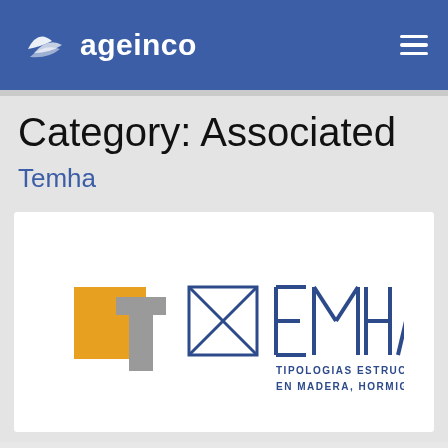[Figure (logo): Rageinco website header with blue background, Rageinco logo (white stylized R icon and 'ageinco' text) on left, hamburger menu icon on right]
Category: Associated
Temha
[Figure (logo): TEMHA logo: yellow square, gray T-shape, boxed T graphic in blue outline, and blue text 'TEMHA' with subtitle 'TIPOLOGIAS ESTRUCTURALES EN MADERA, HORMIGON Y ACERO']